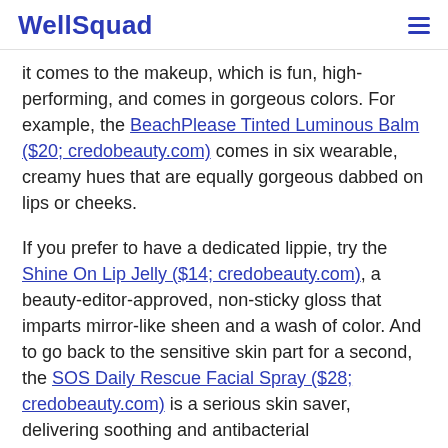WellSquad
it comes to the makeup, which is fun, high-performing, and comes in gorgeous colors. For example, the BeachPlease Tinted Luminous Balm ($20; credobeauty.com) comes in six wearable, creamy hues that are equally gorgeous dabbed on lips or cheeks.
If you prefer to have a dedicated lippie, try the Shine On Lip Jelly ($14; credobeauty.com), a beauty-editor-approved, non-sticky gloss that imparts mirror-like sheen and a wash of color. And to go back to the sensitive skin part for a second, the SOS Daily Rescue Facial Spray ($28; credobeauty.com) is a serious skin saver, delivering soothing and antibacterial